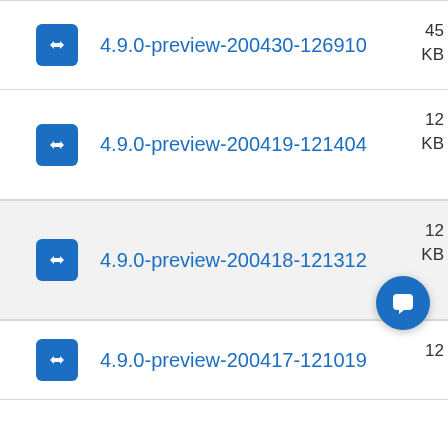4.9.0-preview-200430-126910
4.9.0-preview-200419-121404
4.9.0-preview-200418-121312
4.9.0-preview-200417-121019